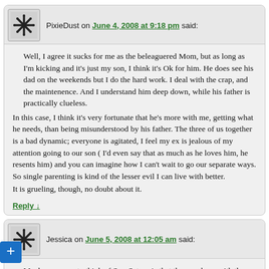PixieDust on June 4, 2008 at 9:18 pm said:
Well, I agree it sucks for me as the beleaguered Mom, but as long as I'm kicking and it's just my son, I think it's Ok for him. He does see his dad on the weekends but I do the hard work. I deal with the crap, and the maintenence. And I understand him deep down, while his father is practically clueless.
In this case, I think it's very fortunate that he's more with me, getting what he needs, than being misunderstood by his father. The three of us together is a bad dynamic; everyone is agitated, I feel my ex is jealous of my attention going to our son ( I'd even say that as much as he loves him, he resents him) and you can imagine how I can't wait to go our separate ways. So single parenting is kind of the lesser evil I can live with better.
It is grueling, though, no doubt about it.
Reply ↓
Jessica on June 5, 2008 at 12:05 am said:
Maybe one way to think of Sun-Saturn is that they are born with the capacity to be their own parent? There is loss there, but so self-sufficiency? I'm Saturn square Sun, so I know a little bit about this. Jeez, I am understanding more and more how huge the